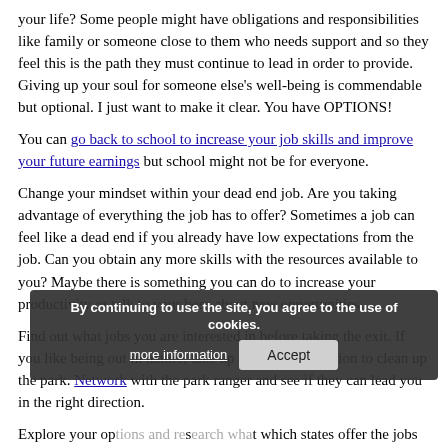your life? Some people might have obligations and responsibilities like family or someone close to them who needs support and so they feel this is the path they must continue to lead in order to provide. Giving up your soul for someone else's well-being is commendable but optional. I just want to make it clear. You have OPTIONS!
You can go back to school to increase your job skills and improve your future earnings but school might not be for everyone.
Change your mindset within your dead end job. Are you taking advantage of everything the job has to offer? Sometimes a job can feel like a dead end if you already have low expectations from the job. Can you obtain any more skills with the resources available to you? Maybe there is something you can do to increase your productivity or talk to your boss about new opportunities.
Find out what jobs you are interested in before taking the exit. If you like being out in nature, take up a volunteer position to clean up the park. Network with the park ranger and see if they can lead you in the right direction.
Explore your options and research what states offer the jobs you seek. Make sure to figure out the average living wages and if there is stimulus money going into that state.